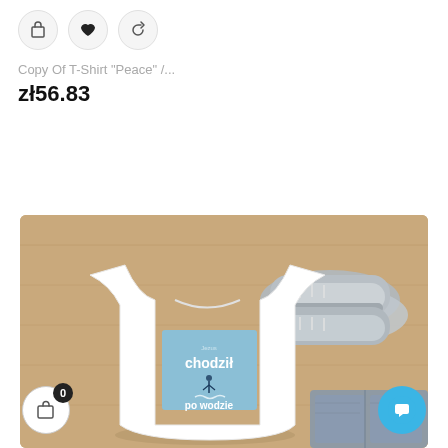[Figure (other): Three icon buttons: shopping bag, heart (filled), and refresh/rotate icon in circular outlines]
Copy Of T-Shirt "Peace" /...
zł56.83
[Figure (photo): Product photo of a white T-shirt with a light blue print reading 'chodził po wodzie' laid flat on a wooden floor next to grey sneakers and folded jeans]